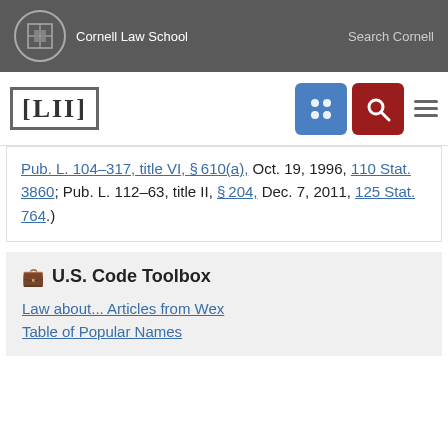Cornell Law School | Search Cornell
[Figure (logo): LII Legal Information Institute logo with navigation buttons]
Pub. L. 104–317, title VI, §610(a), Oct. 19, 1996, 110 Stat. 3860; Pub. L. 112–63, title II, §204, Dec. 7, 2011, 125 Stat. 764.)
U.S. Code Toolbox
Law about... Articles from Wex
Table of Popular Names